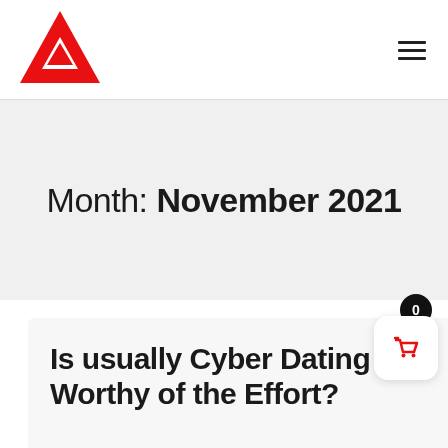Logo and navigation header
Month: November 2021
Is usually Cyber Dating Worthy of the Effort?